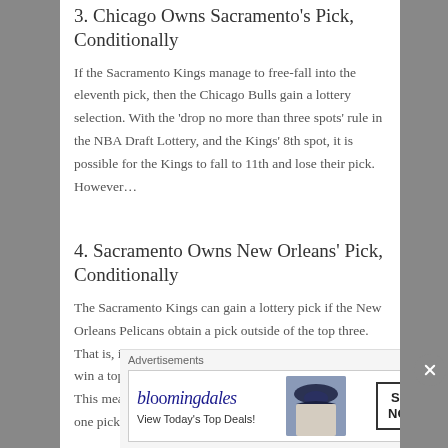3. Chicago Owns Sacramento's Pick, Conditionally
If the Sacramento Kings manage to free-fall into the eleventh pick, then the Chicago Bulls gain a lottery selection. With the 'drop no more than three spots' rule in the NBA Draft Lottery, and the Kings' 8th spot, it is possible for the Kings to fall to 11th and lose their pick. However…
4. Sacramento Owns New Orleans' Pick, Conditionally
The Sacramento Kings can gain a lottery pick if the New Orleans Pelicans obtain a pick outside of the top three. That is, if New Orleans loses the lottery and is does not win a top three seed, they lose their pick to the Kings. This means, the Kings could either end up with no picks, one pick, or two picks in
Advertisements
[Figure (other): Bloomingdale's advertisement banner with logo, 'View Today's Top Deals!' tagline, woman with hat image, and 'SHOP NOW >' button]